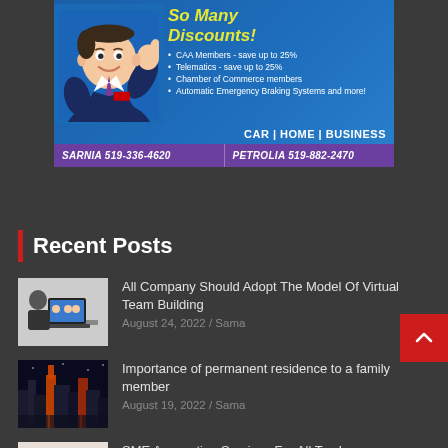[Figure (illustration): Insurance advertisement banner featuring a cartoon man in a suit giving thumbs up. Text reads 'So Many Discounts!' with bullet points: CAA Members - save up to 25%, Telematics - save up to 25%, Chamber of Commerce members, Automatic Emergency Braking Systems and more! CAR | HOME | BUSINESS. Footer: SARNIA 519-336-4620 and PETROLIA 519-882-2470]
Recent Posts
[Figure (photo): Thumbnail image of a person working on a laptop in a virtual meeting]
All Company Should Adopt The Model Of Virtual Team Building
August 24, 2022 / Sama
[Figure (photo): Thumbnail image of city skyline at night with illuminated skyscrapers]
Importance of permanent residence to a family member
August 19, 2022 / Sama
[Figure (photo): Thumbnail image of hands working on a laptop, possibly accounting/tax work]
SME Accounting Services For All Tax Issues
August 17, 2022 / Sama